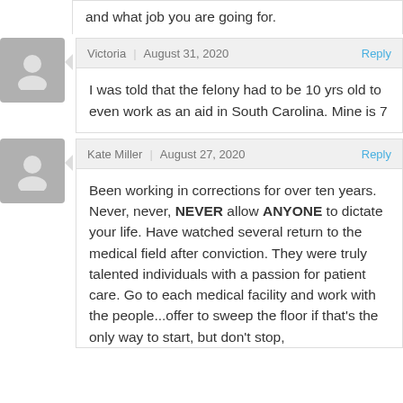and what job you are going for.
Victoria | August 31, 2020 Reply
I was told that the felony had to be 10 yrs old to even work as an aid in South Carolina. Mine is 7
Kate Miller | August 27, 2020 Reply
Been working in corrections for over ten years. Never, never, NEVER allow ANYONE to dictate your life. Have watched several return to the medical field after conviction. They were truly talented individuals with a passion for patient care. Go to each medical facility and work with the people...offer to sweep the floor if that's the only way to start, but don't stop,